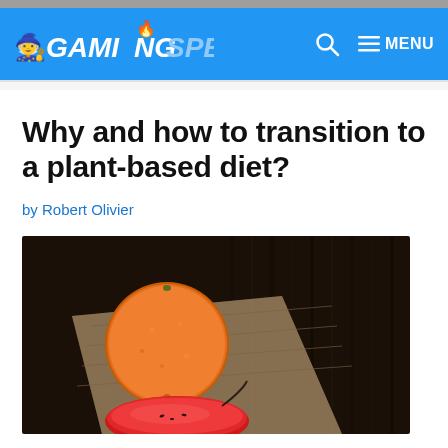GAMINGSPELL — Navigation header with search and menu
Why and how to transition to a plant-based diet?
by Robert Olivier
[Figure (photo): A photograph showing an orange/grapefruit and sliced red fruit (possibly watermelon or tomato) on a burlap cloth against a dark wooden background.]